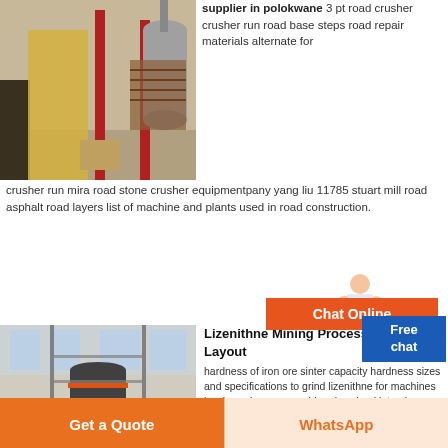[Figure (photo): Industrial crusher/mill equipment in a factory — yellow/red metal structures, dust collectors, pipes]
supplier in polokwane 3 pt road crusher crusher run road base steps road repair materials alternate for crusher run mira road stone crusher equipmentpany yang liu 11785 stuart mill road asphalt road layers list of machine and plants used in road construction.
[Figure (photo): Large industrial mining/processing plant — tall cylindrical machine, multi-level structure, interior factory hall with cranes]
Lizenithne Mining Processing Plant Layout
hardness of iron ore sinter capacity hardness sizes and specifications to grind lizenithne for machines hardness iron ore crushing download interview question
Get a Quote
WhatsApp